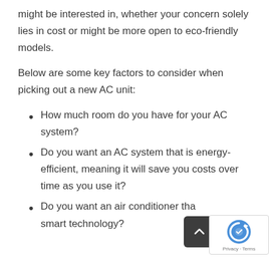might be interested in, whether your concern solely lies in cost or might be more open to eco-friendly models.
Below are some key factors to consider when picking out a new AC unit:
How much room do you have for your AC system?
Do you want an AC system that is energy-efficient, meaning it will save you costs over time as you use it?
Do you want an air conditioner that also uses smart technology?